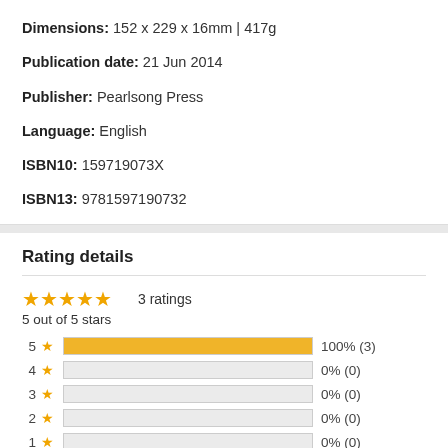Dimensions: 152 x 229 x 16mm | 417g
Publication date: 21 Jun 2014
Publisher: Pearlsong Press
Language: English
ISBN10: 159719073X
ISBN13: 9781597190732
Rating details
[Figure (bar-chart): Rating details]